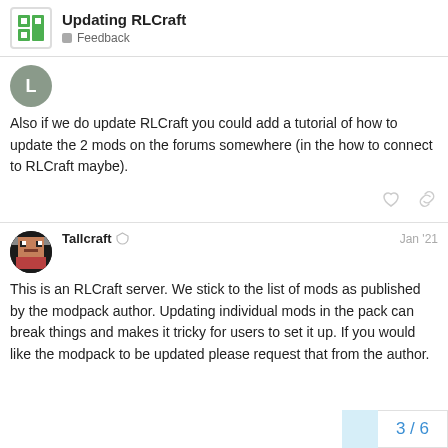Updating RLCraft — Feedback
Also if we do update RLCraft you could add a tutorial of how to update the 2 mods on the forums somewhere (in the how to connect to RLCraft maybe).
Tallcraft  Jan '21
This is an RLCraft server. We stick to the list of mods as published by the modpack author. Updating individual mods in the pack can break things and makes it tricky for users to set it up. If you would like the modpack to be updated please request that from the author.
3 / 6